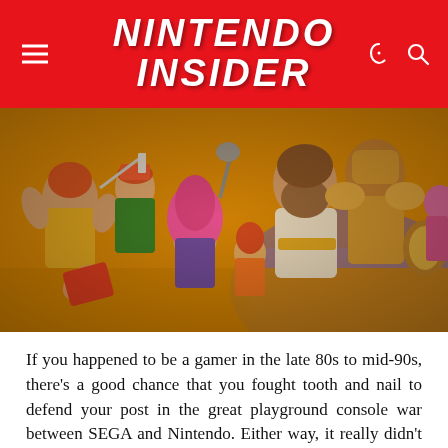NINTENDO INSIDER
[Figure (illustration): Colorful video game characters from various classic games crowded together in an action scene, featuring warriors, fighters, and fantasy characters with vibrant colors including yellow, red, blue, and gold armor.]
If you happened to be a gamer in the late 80s to mid-90s, there's a good chance that you fought tooth and nail to defend your post in the great playground console war between SEGA and Nintendo. Either way, it really didn't matter which company you supported or what system you had hidden in the cabinet below